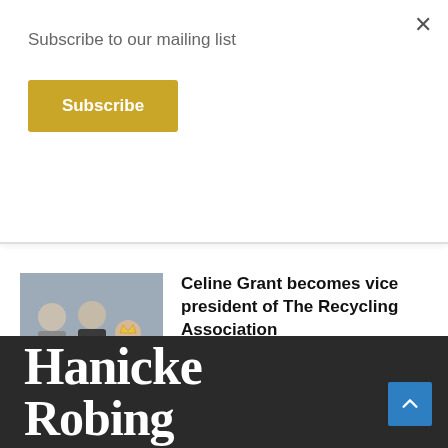Subscribe to our mailing list
Subscribe
×
May 16, 2022
[Figure (photo): Three people posing for a photo indoors]
Celine Grant becomes vice president of The Recycling Association
May 12, 2022
[Figure (logo): Hanicke Robing logo in white serif font on dark background]
Hanicke Robing